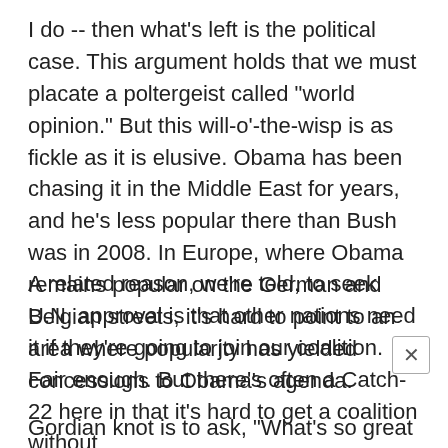I do -- then what's left is the political case. This argument holds that we must placate a poltergeist called "world opinion." But this will-o'-the-wisp is as fickle as it is elusive. Obama has been chasing it in the Middle East for years, and he's less popular there than Bush was in 2008. In Europe, where Obama remains popular on the German and Belgian streets, it's hard to point to an area where popularity has yielded concessions to Obama's agenda.
A related reason, we're told, to seek U.N. approval is that other nations need it if they're going to join our coalition. Fair enough. But there's often a Catch-22 here in that it's hard to get a coalition without
Gordian knot is to ask, "What's so great about